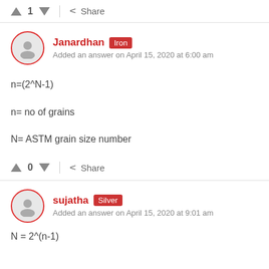↑ 1 ↓ | < Share
Janardhan [Iron] Added an answer on April 15, 2020 at 6:00 am
n= no of grains
N= ASTM grain size number
↑ 0 ↓ | < Share
sujatha [Silver] Added an answer on April 15, 2020 at 9:01 am